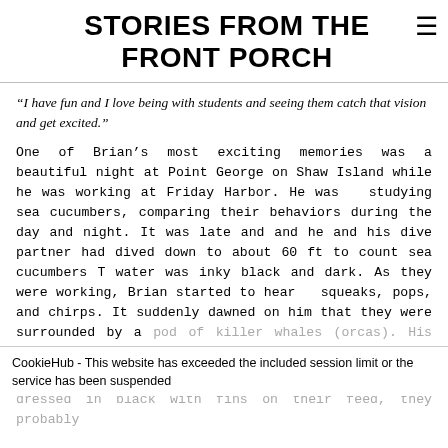STORIES FROM THE FRONT PORCH
“I have fun and I love being with students and seeing them catch that vision and get excited.”
One of Brian’s most exciting memories was a beautiful night at Point George on Shaw Island while he was working at Friday Harbor. He was  studying sea cucumbers, comparing their behaviors during the day and night. It was late and and he and his dive partner had dived down to about 60 ft to count sea cucumbers T water was inky black and dark. As they were working, Brian started to hear  squeaks, pops, and chirps. It suddenly dawned on him that they were surrounded by a pod of killer whales (orcas). His sense of wonder was quickly replaced by a realization that, in the darkness, dressed in black with fins on their feed, they probably looked a lot like orcas. The immediately dove for a deep
CookieHub - This website has exceeded the included session limit or the service has been suspended